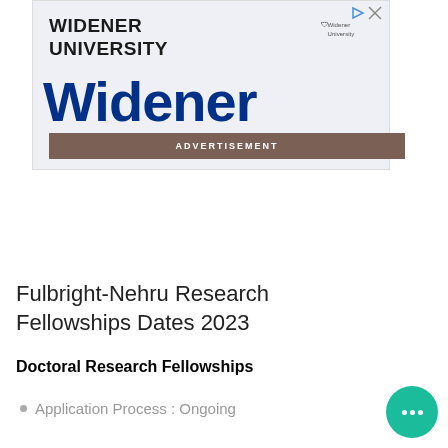[Figure (other): Widener University advertisement banner with logo, large 'Widener' text in blue, and an ADVERTISEMENT label bar in brown]
Fulbright-Nehru Research Fellowships Dates 2023
Doctoral Research Fellowships
Application Process : Ongoing